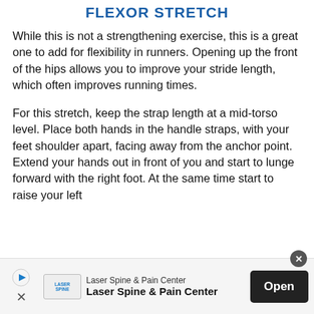FLEXOR STRETCH
While this is not a strengthening exercise, this is a great one to add for flexibility in runners. Opening up the front of the hips allows you to improve your stride length, which often improves running times.
For this stretch, keep the strap length at a mid-torso level. Place both hands in the handle straps, with your feet shoulder apart, facing away from the anchor point. Extend your hands out in front of you and start to lunge forward with the right foot. At the same time start to raise your left
[Figure (infographic): Advertisement bar for Laser Spine & Pain Center with Open button]